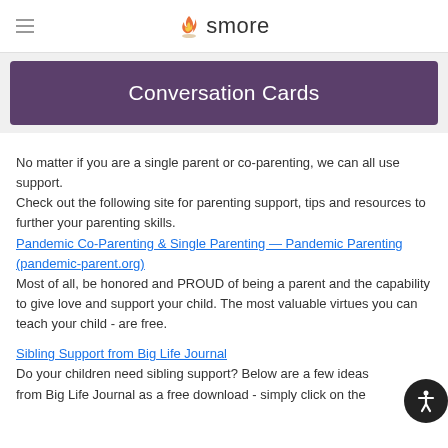smore
Conversation Cards
No matter if you are a single parent or co-parenting, we can all use support.
Check out the following site for parenting support, tips and resources to further your parenting skills.
Pandemic Co-Parenting & Single Parenting — Pandemic Parenting (pandemic-parent.org)
Most of all, be honored and PROUD of being a parent and the capability to give love and support your child. The most valuable virtues you can teach your child - are free.
Sibling Support from Big Life Journal
Do your children need sibling support? Below are a few ideas from Big Life Journal as a free download - simply click on the